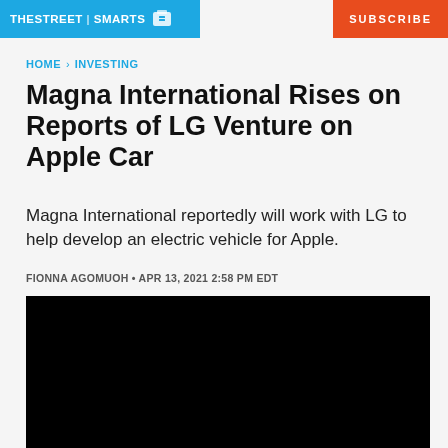THESTREET | SMARTS  SUBSCRIBE
HOME › INVESTING
Magna International Rises on Reports of LG Venture on Apple Car
Magna International reportedly will work with LG to help develop an electric vehicle for Apple.
FIONNA AGOMUOH • APR 13, 2021 2:58 PM EDT
[Figure (photo): Black image area, likely a video thumbnail or article image]